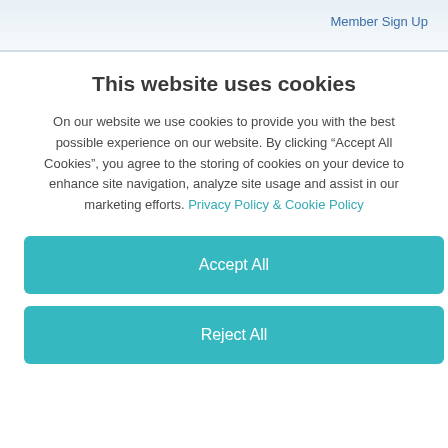Member Sign Up
This website uses cookies
On our website we use cookies to provide you with the best possible experience on our website. By clicking “Accept All Cookies”, you agree to the storing of cookies on your device to enhance site navigation, analyze site usage and assist in our marketing efforts. Privacy Policy & Cookie Policy
Accept All
Reject All